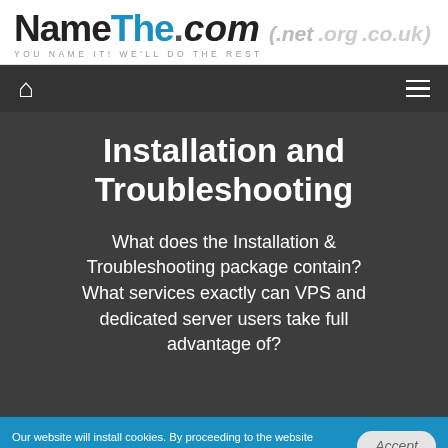NameThe.com (.net .org .co.uk) — YOU NAME IT! WE'LL DO THE REST
Installation and Troubleshooting
What does the Installation & Troubleshooting package contain? What services exactly can VPS and dedicated server users take full advantage of?
Our website will install cookies. By proceeding to the website you are agreeing to our usage of cookies. Find out more here.